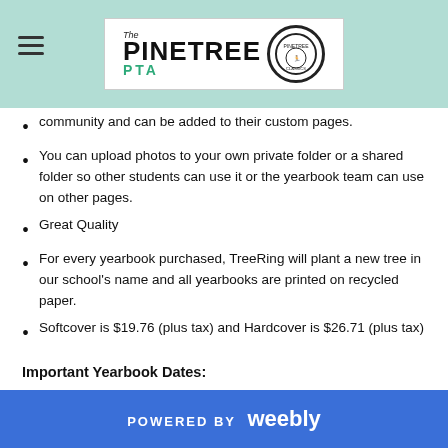[Figure (logo): Pinetree PTA logo with hamburger menu icon on left. Logo shows 'The PINETREE PTA' text with a circular school mascot badge on the right, on a mint/teal background header.]
community and can be added to their custom pages.
You can upload photos to your own private folder or a shared folder so other students can use it or the yearbook team can use on other pages.
Great Quality
For every yearbook purchased, TreeRing will plant a new tree in our school's name and all yearbooks are printed on recycled paper.
Softcover is $19.76 (plus tax) and Hardcover is $26.71 (plus tax)
Important Yearbook Dates:
POWERED BY weebly